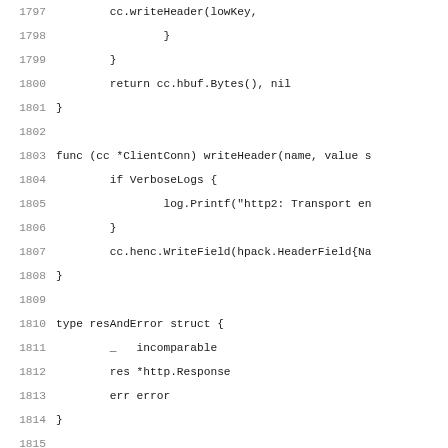1797    cc.writeHeader(lowKey,
1798        }
1799    }
1800    return cc.hbuf.Bytes(), nil
1801 }
1802
1803 func (cc *ClientConn) writeHeader(name, value s
1804    if VerboseLogs {
1805        log.Printf("http2: Transport en
1806    }
1807    cc.henc.WriteField(hpack.HeaderField{Na
1808 }
1809
1810 type resAndError struct {
1811    _   incomparable
1812    res *http.Response
1813    err error
1814 }
1815
1816 // requires cc.mu be held.
1817 func (cc *ClientConn) addStreamLocked(cs *clien
1818    cc.flow.add(int32(cc.initialWindowSize)